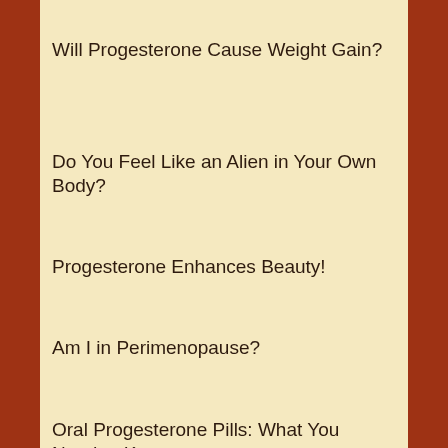Will Progesterone Cause Weight Gain?
Do You Feel Like an Alien in Your Own Body?
Progesterone Enhances Beauty!
Am I in Perimenopause?
Oral Progesterone Pills: What You Need to Know
Hormones for the Face